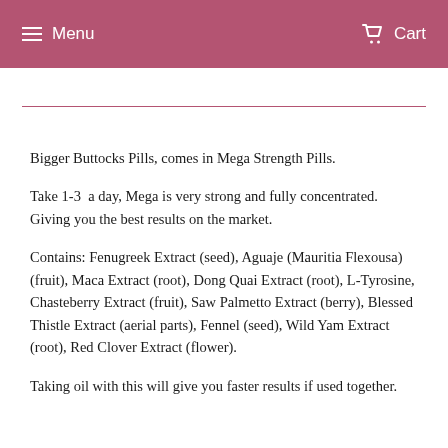Menu   Cart
Bigger Buttocks Pills, comes in Mega Strength Pills.
Take 1-3  a day, Mega is very strong and fully concentrated. Giving you the best results on the market.
Contains: Fenugreek Extract (seed), Aguaje (Mauritia Flexousa) (fruit), Maca Extract (root), Dong Quai Extract (root), L-Tyrosine, Chasteberry Extract (fruit), Saw Palmetto Extract (berry), Blessed Thistle Extract (aerial parts), Fennel (seed), Wild Yam Extract (root), Red Clover Extract (flower).
Taking oil with this will give you faster results if used together.